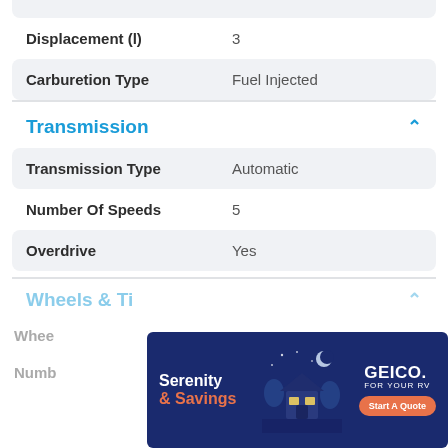| Property | Value |
| --- | --- |
| Displacement (l) | 3 |
| Carburetion Type | Fuel Injected |
Transmission
| Property | Value |
| --- | --- |
| Transmission Type | Automatic |
| Number Of Speeds | 5 |
| Overdrive | Yes |
Wheels & Tires
Whee...
Numb...
[Figure (other): GEICO advertisement banner: dark blue background with illustration of a house at night, text 'Serenity & Savings', GEICO FOR YOUR RV logo, and 'Start A Quote' button.]